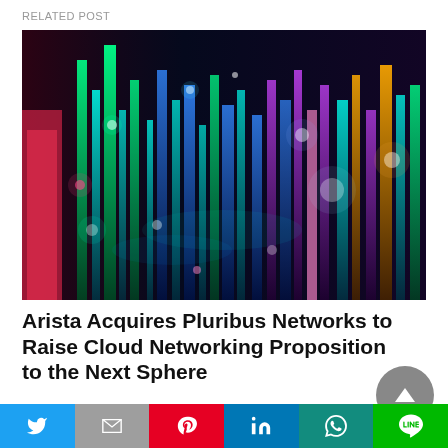RELATED POST
[Figure (photo): Abstract colorful glowing vertical bars resembling a data visualization or city skyline at night, with vibrant green, teal, blue, red, purple, and orange hues against a dark background]
Arista Acquires Pluribus Networks to Raise Cloud Networking Proposition to the Next Sphere
Futurum's Ron Westfall assesses why Arista's acquisition of